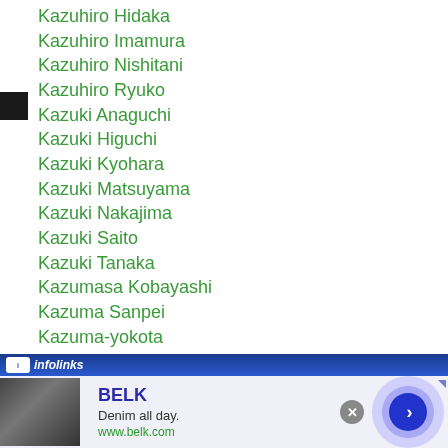Kazuhiro Hidaka
Kazuhiro Imamura
Kazuhiro Nishitani
Kazuhiro Ryuko
Kazuki Anaguchi
Kazuki Higuchi
Kazuki Kyohara
Kazuki Matsuyama
Kazuki Nakajima
Kazuki Saito
Kazuki Tanaka
Kazumasa Kobayashi
Kazuma Sanpei
Kazuma-yokota
Kazunori Hirano
Kazusa Arai
[Figure (infographic): Infolinks advertisement banner with blue gradient bar showing infolinks logo, followed by a Belk department store ad with text 'Denim all day. www.belk.com' and a circular arrow button]